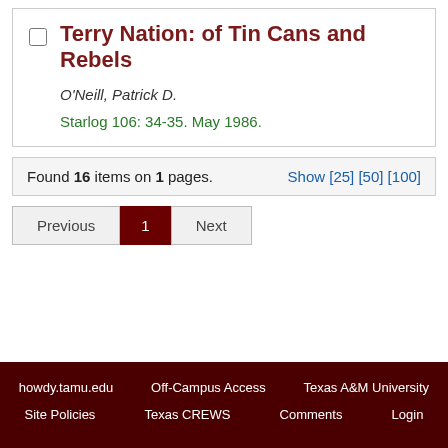Terry Nation: of Tin Cans and Rebels
O'Neill, Patrick D.
Starlog 106: 34-35. May 1986.
Found 16 items on 1 pages. Show [25] [50] [100]
Previous 1 Next
howdy.tamu.edu  Off-Campus Access  Texas A&M University  Site Policies  Texas CREWS  Comments  Login